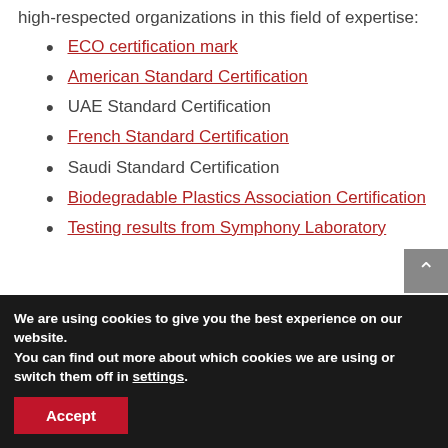high-respected organizations in this field of expertise:
ECO certification mark
American Standard Certification
UAE Standard Certification
French Standard Certification
Saudi Standard Certification
Biodegradable Plastics Association Certification
Testing results from Symphony Laboratory
We are using cookies to give you the best experience on our website.
You can find out more about which cookies we are using or switch them off in settings.